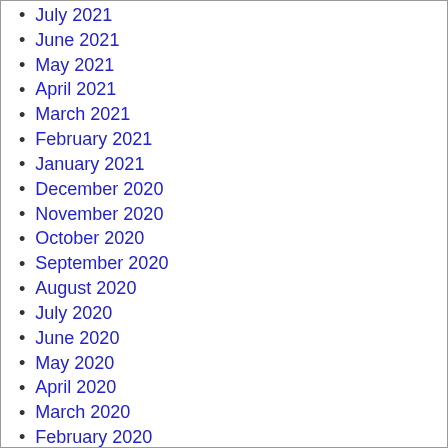July 2021
June 2021
May 2021
April 2021
March 2021
February 2021
January 2021
December 2020
November 2020
October 2020
September 2020
August 2020
July 2020
June 2020
May 2020
April 2020
March 2020
February 2020
January 2020
December 2019
November 2019
October 2019
September 2019